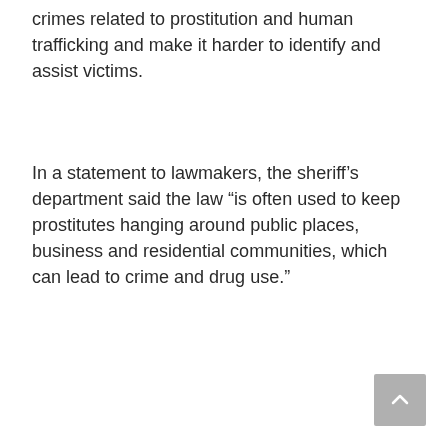crimes related to prostitution and human trafficking and make it harder to identify and assist victims.
In a statement to lawmakers, the sheriff’s department said the law “is often used to keep prostitutes hanging around public places, business and residential communities, which can lead to crime and drug use.”